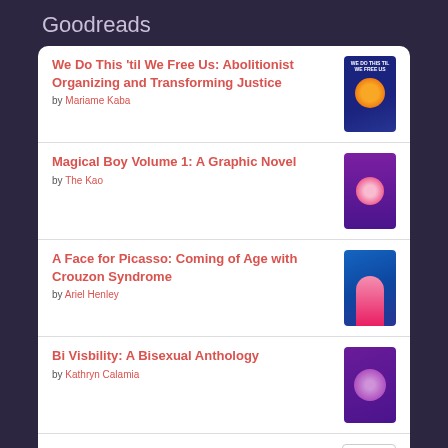Goodreads
We Do This 'til We Free Us: Abolitionist Organizing and Transforming Justice by Mariame Kaba
Magical Boy Volume 1: A Graphic Novel by The Kao
A Face for Picasso: Coming of Age with Crouzon Syndrome by Ariel Henley
Bi Visbility: A Bisexual Anthology by Kathryn Calamia
The Balance Tips by Ren Iris